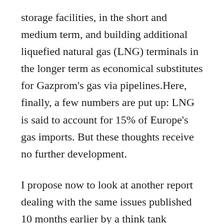storage facilities, in the short and medium term, and building additional liquefied natural gas (LNG) terminals in the longer term as economical substitutes for Gazprom's gas via pipelines.Here, finally, a few numbers are put up: LNG is said to account for 15% of Europe's gas imports. But these thoughts receive no further development.
I propose now to look at another report dealing with the same issues published 10 months earlier by a think tank headquartered in London, the European Council on Foreign Relations. I reverse the chronological order of my presentation precisely because one might expect a later authoritative report like that by the Congressional Research Service to take into account and respond to a well-publicized report issued earlier which disproves